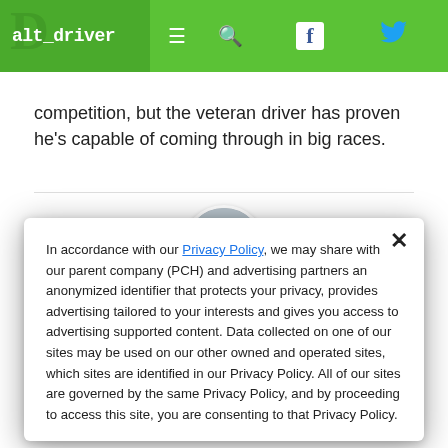alt_driver [nav bar with hamburger, search, facebook, twitter icons]
competition, but the veteran driver has proven he's capable of coming through in big races.
[Figure (photo): Circular avatar photo of a smiling man in a suit and tie, with a clock visible in the background.]
In accordance with our Privacy Policy, we may share with our parent company (PCH) and advertising partners an anonymized identifier that protects your privacy, provides advertising tailored to your interests and gives you access to advertising supported content. Data collected on one of our sites may be used on our other owned and operated sites, which sites are identified in our Privacy Policy. All of our sites are governed by the same Privacy Policy, and by proceeding to access this site, you are consenting to that Privacy Policy.